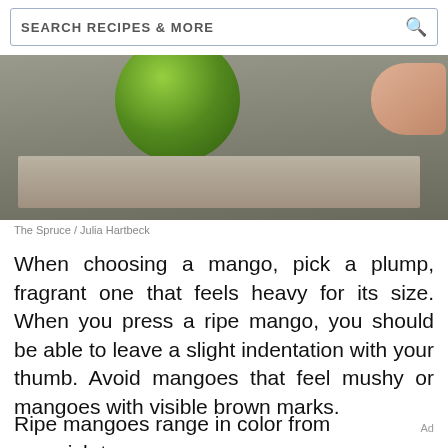SEARCH RECIPES & MORE
[Figure (photo): A green lime/mango on a gray cutting board with a hand visible in the background]
The Spruce / Julia Hartbeck
When choosing a mango, pick a plump, fragrant one that feels heavy for its size. When you press a ripe mango, you should be able to leave a slight indentation with your thumb. Avoid mangoes that feel mushy or mangoes with visible brown marks.
Ripe mangoes range in color from greenish to